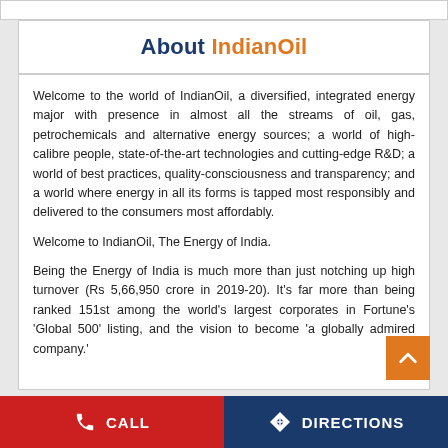About IndianOil
Welcome to the world of IndianOil, a diversified, integrated energy major with presence in almost all the streams of oil, gas, petrochemicals and alternative energy sources; a world of high-calibre people, state-of-the-art technologies and cutting-edge R&D; a world of best practices, quality-consciousness and transparency; and a world where energy in all its forms is tapped most responsibly and delivered to the consumers most affordably.
Welcome to IndianOil, The Energy of India.
Being the Energy of India is much more than just notching up high turnover (Rs 5,66,950 crore in 2019-20). It's far more than being ranked 151st among the world's largest corporates in Fortune's 'Global 500' listing, and the vision to become 'a globally admired company.'
CALL   DIRECTIONS